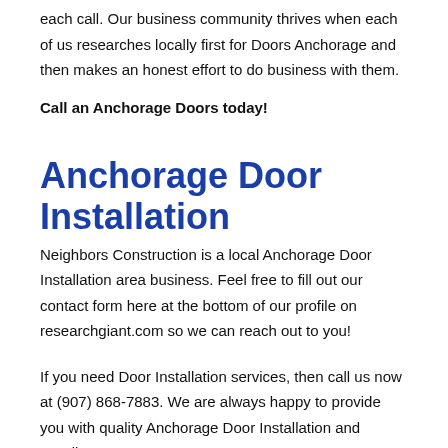each call. Our business community thrives when each of us researches locally first for Doors Anchorage and then makes an honest effort to do business with them.
Call an Anchorage Doors today!
Anchorage Door Installation
Neighbors Construction is a local Anchorage Door Installation area business. Feel free to fill out our contact form here at the bottom of our profile on researchgiant.com so we can reach out to you!
If you need Door Installation services, then call us now at (907) 868-7883. We are always happy to provide you with quality Anchorage Door Installation and excellent customer